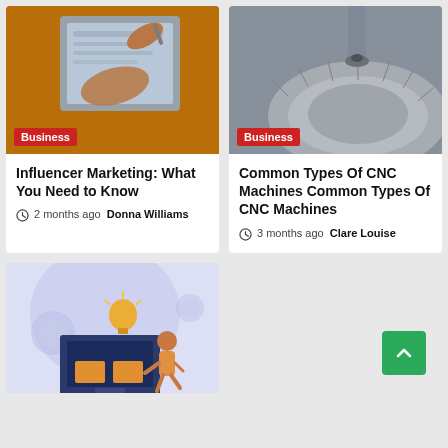[Figure (photo): Hand holding a stylus/pen writing on a tablet screen, warm orange tones in background]
[Figure (photo): CNC machine milling a metallic circular component, silver tones]
Influencer Marketing: What You Need to Know
2 months ago  Donna Williams
Common Types Of CNC Machines Common Types Of CNC Machines
3 months ago  Clare Louise
[Figure (illustration): Illustration of a person sitting next to a computer monitor with a lightbulb, gears, and boxes — concept art in lavender/blue tones]